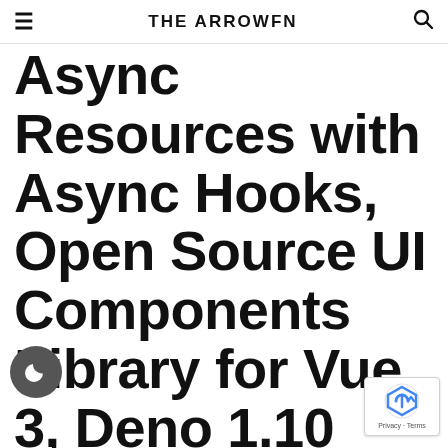THE ARROWFN
Async Resources with Async Hooks, Open Source UI Components Library for Vue 3, Deno 1.10 Released